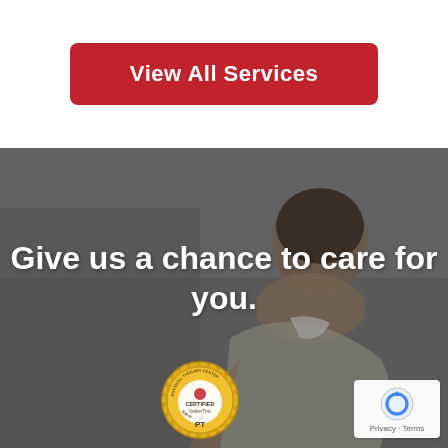View All Services
[Figure (photo): Woman athlete leaning forward, dark background with grey overlay. Text overlay reads: Give us a chance to care for you. A certified physical therapy center badge is visible at the bottom center, and a reCAPTCHA widget is at the bottom right.]
Give us a chance to care for you.